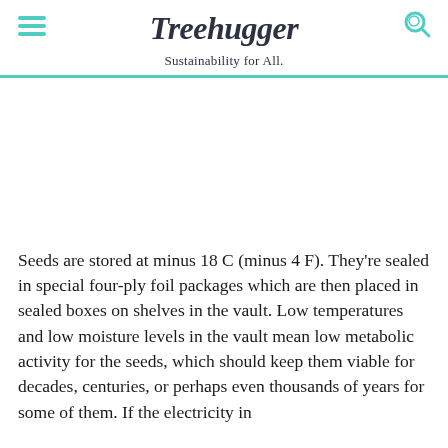Treehugger
Sustainability for All.
Seeds are stored at minus 18 C (minus 4 F). They're sealed in special four-ply foil packages which are then placed in sealed boxes on shelves in the vault. Low temperatures and low moisture levels in the vault mean low metabolic activity for the seeds, which should keep them viable for decades, centuries, or perhaps even thousands of years for some of them. If the electricity in